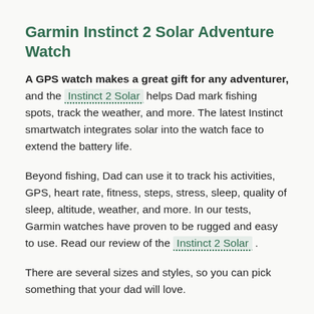Garmin Instinct 2 Solar Adventure Watch
A GPS watch makes a great gift for any adventurer, and the Instinct 2 Solar helps Dad mark fishing spots, track the weather, and more. The latest Instinct smartwatch integrates solar into the watch face to extend the battery life.
Beyond fishing, Dad can use it to track his activities, GPS, heart rate, fitness, steps, stress, sleep, quality of sleep, altitude, weather, and more. In our tests, Garmin watches have proven to be rugged and easy to use. Read our review of the Instinct 2 Solar.
There are several sizes and styles, so you can pick something that your dad will love.